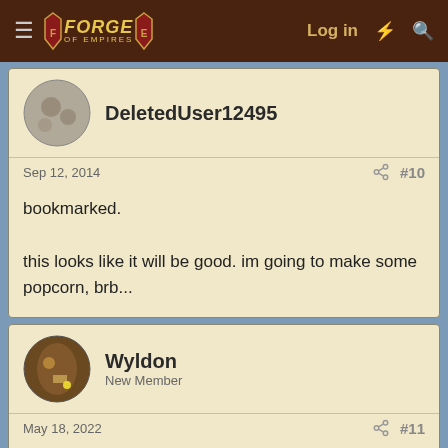Forge of Empires - Log in
DeletedUser12495
Sep 12, 2014 #10
bookmarked.

this looks like it will be good. im going to make some popcorn, brb...
Wyldon
New Member
May 18, 2022 #11
"LONG MAY HE REIGN!" 😀
Agent327